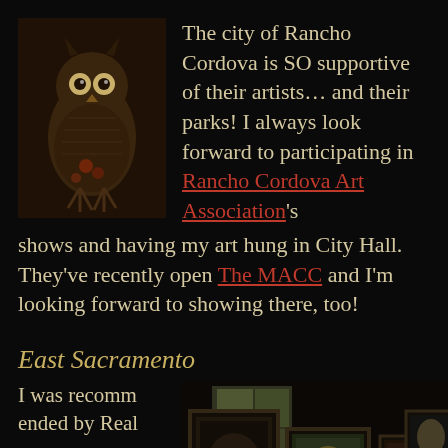[Figure (photo): Sepia-toned photo of an owl perched, dark background]
The city of Rancho Cordova is SO supportive of their artists… and their parks!  I always look forward to participating in Rancho Cordova Art Association's shows and having my art hung in City Hall.  They've recently open The MACC and I'm looking forward to showing there, too!
East Sacramento
I was recommended by Real
[Figure (photo): Dark interior photo showing multiple framed artworks/paintings displayed together]